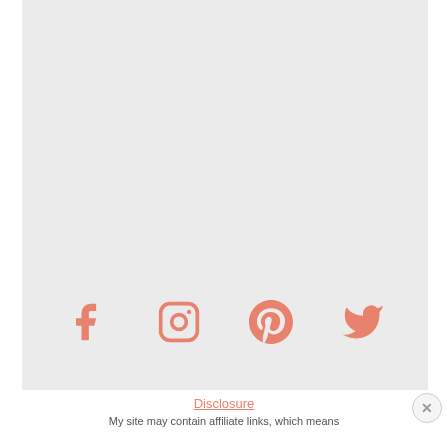[Figure (illustration): Social media icons row: Facebook, Instagram, Pinterest, Twitter in salmon/coral color on light gray background]
Disclosure
My site may contain affiliate links, which means